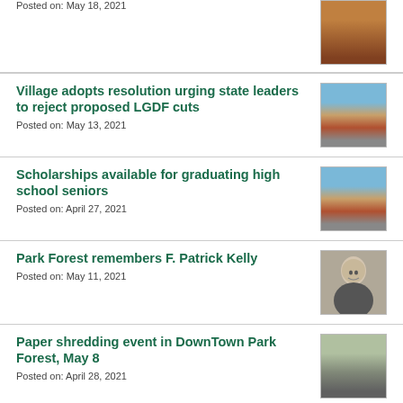Posted on: May 18, 2021
Village adopts resolution urging state leaders to reject proposed LGDF cuts
Posted on: May 13, 2021
Scholarships available for graduating high school seniors
Posted on: April 27, 2021
Park Forest remembers F. Patrick Kelly
Posted on: May 11, 2021
Paper shredding event in DownTown Park Forest, May 8
Posted on: April 28, 2021
Somonauk Park ground breaking